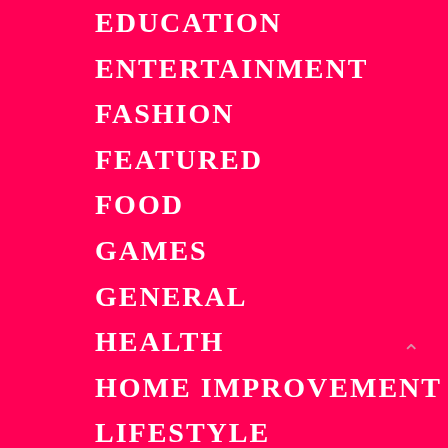EDUCATION
ENTERTAINMENT
FASHION
FEATURED
FOOD
GAMES
GENERAL
HEALTH
HOME IMPROVEMENT
LIFESTYLE
REAL ESTATE
SPORTS
TECHNOLOGY